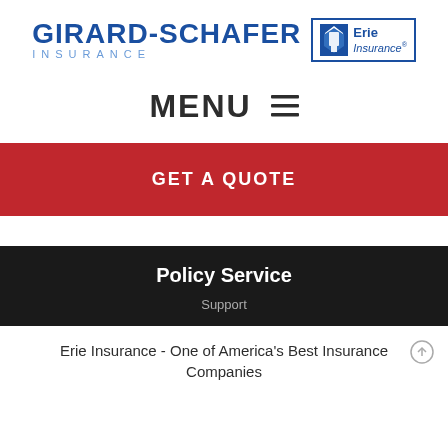[Figure (logo): Girard-Schafer Insurance logo alongside Erie Insurance logo]
MENU ☰
GET A QUOTE
Policy Service
Support
Erie Insurance - One of America's Best Insurance Companies